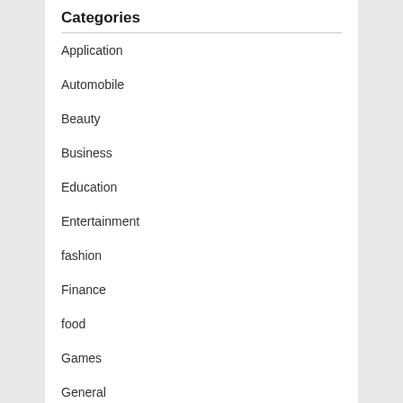Categories
Application
Automobile
Beauty
Business
Education
Entertainment
fashion
Finance
food
Games
General
Health